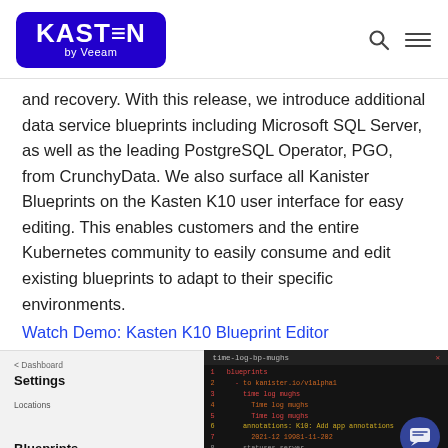KASTEN by Veeam
and recovery. With this release, we introduce additional data service blueprints including Microsoft SQL Server, as well as the leading PostgreSQL Operator, PGO, from CrunchyData. We also surface all Kanister Blueprints on the Kasten K10 user interface for easy editing. This enables customers and the entire Kubernetes community to easily consume and edit existing blueprints to adapt to their specific environments.
Watch Demo: Kasten K10 Blueprint Editor
[Figure (screenshot): Screenshot of Kasten K10 Blueprint Editor interface showing a dark code editor panel with colored code lines on the right, and a left panel showing Settings navigation with Dashboard breadcrumb, Locations label, and Blueprints label.]